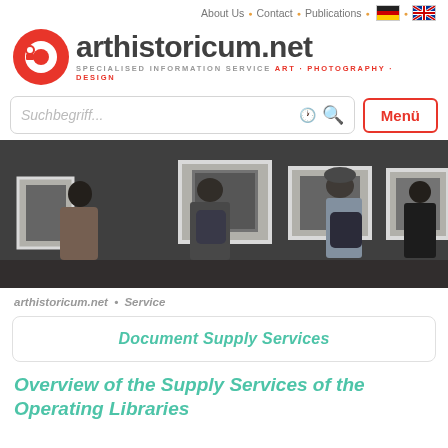About Us • Contact • Publications
[Figure (logo): arthistoricum.net logo with red circular icon and tagline SPECIALISED INFORMATION SERVICE ART · PHOTOGRAPHY · DESIGN]
[Figure (screenshot): Search bar with placeholder 'Suchbegriff...' and search icons, plus Menü button]
[Figure (photo): Black and white photo of people viewing framed photographs in an art gallery]
arthistoricum.net • Service
Document Supply Services
Overview of the Supply Services of the Operating Libraries